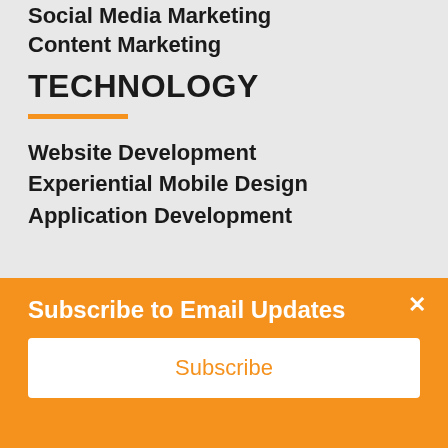Social Media Marketing
Content Marketing
TECHNOLOGY
Website Development
Experiential Mobile Design
Application Development
ANALYTICS
Subscribe to Email Updates
Subscribe